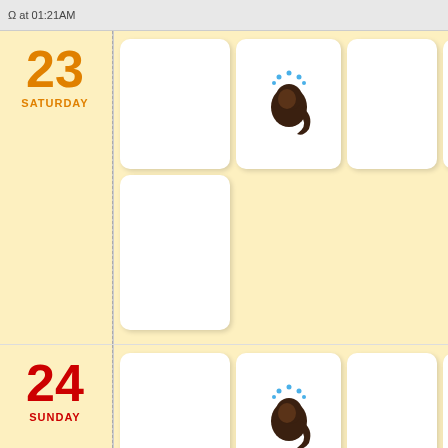Ω at 01:21AM
23 SATURDAY
[Figure (illustration): Calendar view for Saturday 23 showing event cards with a hair washing/shower icon on one card]
24 SUNDAY
[Figure (illustration): Calendar view for Sunday 24 showing event cards with a hair washing/shower icon on one card]